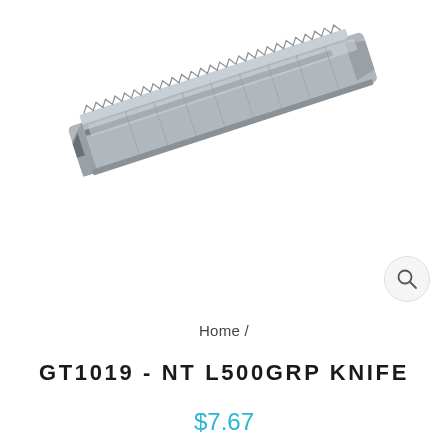[Figure (photo): Close-up photo of a metal utility knife / box cutter (NT L500GRP), showing the silver metallic body with serrated top edge and blade slot, angled diagonally on a white background.]
Home /
GT1019 - NT L500GRP KNIFE
$7.67